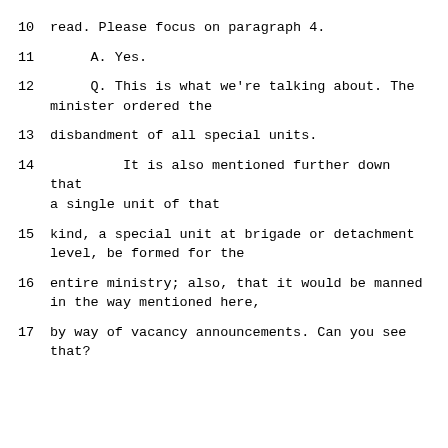10    read.  Please focus on paragraph 4.
11         A.   Yes.
12         Q.   This is what we're talking about.  The minister ordered the
13    disbandment of all special units.
14              It is also mentioned further down that a single unit of that
15    kind, a special unit at brigade or detachment level, be formed for the
16    entire ministry; also, that it would be manned in the way mentioned here,
17    by way of vacancy announcements.  Can you see that?